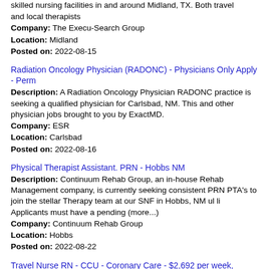skilled nursing facilities in and around Midland, TX. Both travel and local therapists
Company: The Execu-Search Group
Location: Midland
Posted on: 2022-08-15
Radiation Oncology Physician (RADONC) - Physicians Only Apply - Perm
Description: A Radiation Oncology Physician RADONC practice is seeking a qualified physician for Carlsbad, NM. This and other physician jobs brought to you by ExactMD.
Company: ESR
Location: Carlsbad
Posted on: 2022-08-16
Physical Therapist Assistant. PRN - Hobbs NM
Description: Continuum Rehab Group, an in-house Rehab Management company, is currently seeking consistent PRN PTA's to join the stellar Therapy team at our SNF in Hobbs, NM ul li Applicants must have a pending (more...)
Company: Continuum Rehab Group
Location: Hobbs
Posted on: 2022-08-22
Travel Nurse RN - CCU - Coronary Care - $2,692 per week, Nights
Description: Synergy Medical Staffing is seeking a travel nurse RN CCU - Coronary Care for a travel nursing job in Midland...